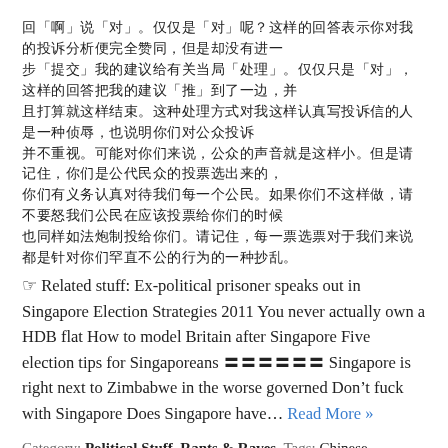Chinese text block with quoted characters (unreadable/CJK glyphs)
☞ Related stuff: Ex-political prisoner speaks out in Singapore Election Strategies 2011 You never actually own a HDB flat How to model Britain after Singapore Five election tips for Singaporeans 〓〓〓〓〓〓 Singapore is right next to Zimbabwe in the worse governed Don't fuck with Singapore Does Singapore have… Read More »
Category: Political Stuff  Rants & Raves  Tags: Chinese, commentary, democracy, election, government, history, politics, Singapore-related